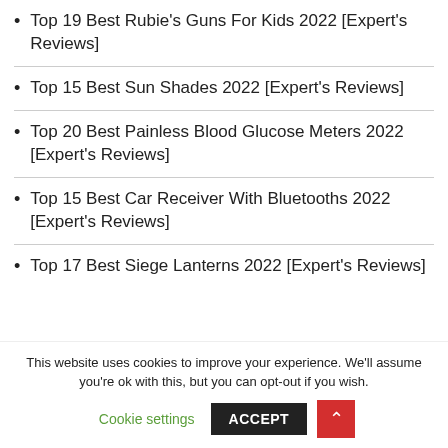Top 19 Best Rubie's Guns For Kids 2022 [Expert's Reviews]
Top 15 Best Sun Shades 2022 [Expert's Reviews]
Top 20 Best Painless Blood Glucose Meters 2022 [Expert's Reviews]
Top 15 Best Car Receiver With Bluetooths 2022 [Expert's Reviews]
Top 17 Best Siege Lanterns 2022 [Expert's Reviews]
This website uses cookies to improve your experience. We'll assume you're ok with this, but you can opt-out if you wish.
Cookie settings  ACCEPT